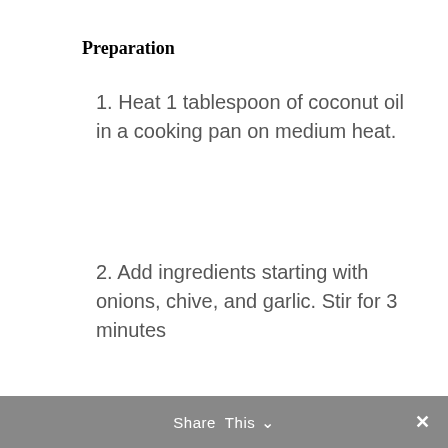Preparation
1. Heat 1 tablespoon of coconut oil in a cooking pan on medium heat.
2. Add ingredients starting with onions, chive, and garlic. Stir for 3 minutes
3. Add other ingredients
4. Cover the pan and leave to simmer for about 10 minutes
5. Remove from heat and add
Share This ✕